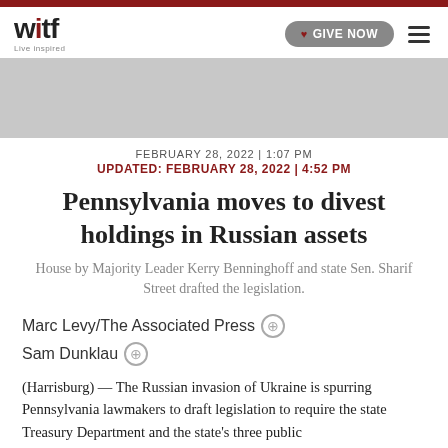witf — Live inspired
[Figure (other): Gray advertisement banner placeholder]
FEBRUARY 28, 2022 | 1:07 PM
UPDATED: FEBRUARY 28, 2022 | 4:52 PM
Pennsylvania moves to divest holdings in Russian assets
House by Majority Leader Kerry Benninghoff and state Sen. Sharif Street drafted the legislation.
Marc Levy/The Associated Press
Sam Dunklau
(Harrisburg) — The Russian invasion of Ukraine is spurring Pennsylvania lawmakers to draft legislation to require the state Treasury Department and the state's three public